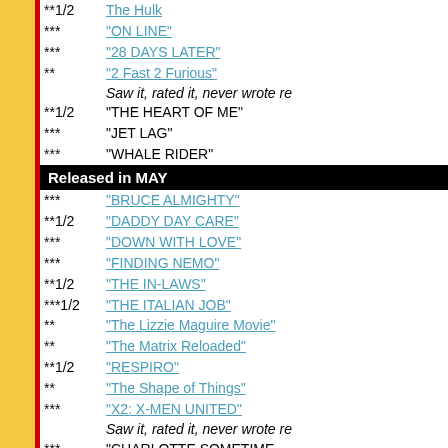**1/2  The Hulk
***  "ON  LINE"
***  "28 DAYS LATER"
**  "2 Fast 2 Furious"
Saw it, rated it, never wrote re
**1/2  "THE HEART OF ME"
***  "JET LAG"
***  "WHALE RIDER"
Released in MAY
***  "BRUCE ALMIGHTY"
**1/2  "DADDY DAY CARE"
***  "DOWN WITH LOVE"
***  "FINDING NEMO"
**1/2  "THE IN-LAWS"
***1/2  "THE ITALIAN JOB"
**  "The Lizzie Maguire Movie"
**  "The Matrix Reloaded"
**1/2  "RESPIRO"
**  "The Shape of Things"
***  "X2: X-MEN UNITED"
Saw it, rated it, never wrote re
***  "CHARLOTTE SOMETIME
***  "THE DANCER UPSTAIRS"
Released in APRIL
1/2*  "Anger Management"